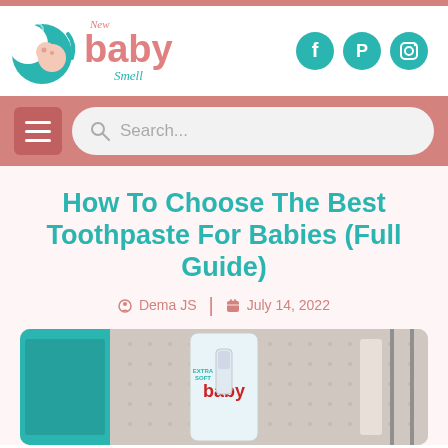[Figure (logo): New Baby Smell website logo with teal crescent and baby illustration]
[Figure (infographic): Three teal circular social media icons: Facebook, Pinterest, Instagram]
[Figure (screenshot): Navigation bar with hamburger menu and search box]
How To Choose The Best Toothpaste For Babies (Full Guide)
Dema JS | July 14, 2022
[Figure (photo): Photo of baby toothbrush and toothpaste products on store shelf]